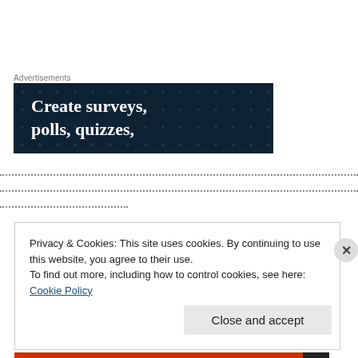Advertisements
[Figure (illustration): Dark navy blue advertisement banner with dot pattern background and white serif bold text reading 'Create surveys, polls, quizzes,']
Privacy & Cookies: This site uses cookies. By continuing to use this website, you agree to their use. To find out more, including how to control cookies, see here: Cookie Policy
Close and accept